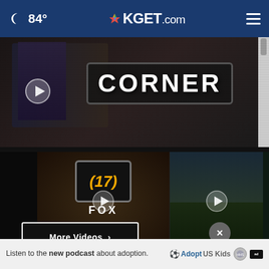84° KGET.com
[Figure (screenshot): Hero video thumbnail showing 'CORNER' text graphic with news anchors, video player with play button]
[Figure (screenshot): Video thumbnail: FFX Coach's Corner - Fox 17 logo style graphic with play button]
FFX Coach's Corner: Roster depth
2 hours ago
[Figure (screenshot): Video thumbnail: FFX Awards - Week 2 Play of the Week - crowd at baseball/softball stadium with play button]
FFX Awards – Week 2 Play of the Week
2 hours ago
[Figure (screenshot): Partially visible third video thumbnail: FFX Awards]
FFX Av... the We...
More Videos ›
Listen to the new podcast about adoption.
[Figure (logo): Adopt US Kids logo and HHS/ad council badges]